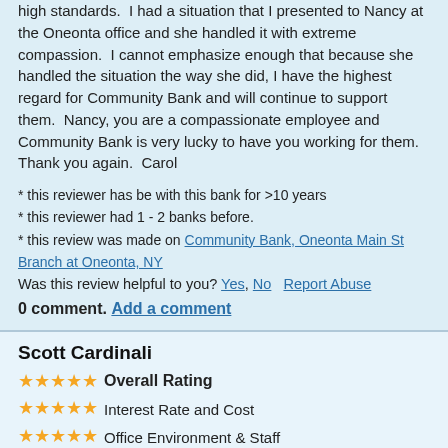high standards.  I had a situation that I presented to Nancy at the Oneonta office and she handled it with extreme compassion.  I cannot emphasize enough that because she handled the situation the way she did, I have the highest regard for Community Bank and will continue to support them.  Nancy, you are a compassionate employee and Community Bank is very lucky to have you working for them.  Thank you again.  Carol
* this reviewer has be with this bank for >10 years
* this reviewer had 1 - 2 banks before.
* this review was made on Community Bank, Oneonta Main St Branch at Oneonta, NY
Was this review helpful to you? Yes, No   Report Abuse
0 comment. Add a comment
Scott Cardinali
★★★★★ Overall Rating
★★★★★ Interest Rate and Cost
★★★★★ Office Environment & Staff
★★★★★ Waiting Time
★★★★★ Other Services
by Scottyytttooohotttyyy, Aug. 31, 2020